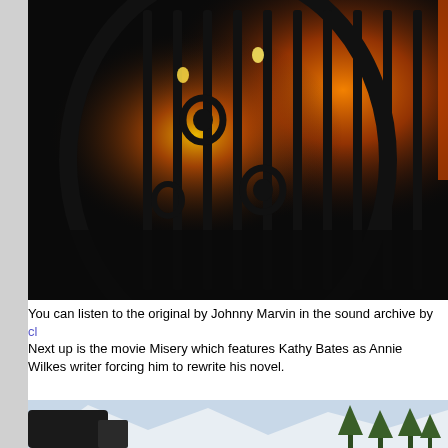[Figure (photo): Dark atmospheric photo showing ornate wrought iron gate or grille with candles or warm orange/amber light glowing behind it against a black background]
You can listen to the original by Johnny Marvin in the sound archive by cl
Next up is the movie Misery which features Kathy Bates as Annie Wilkes writer forcing him to rewrite his novel.
[Figure (photo): Partial view of an outdoor snowy mountain scene with trees in the background]